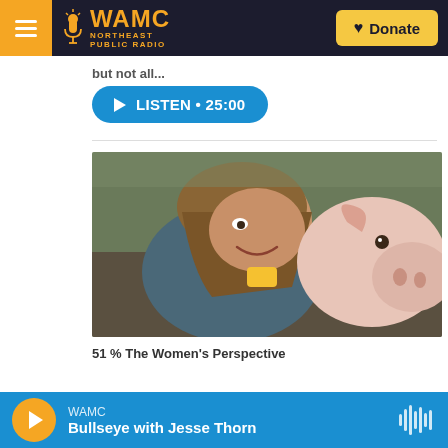WAMC Northeast Public Radio — Donate
but not all...
LISTEN • 25:00
[Figure (photo): A woman smiling and leaning close to a pig, appearing to feed or interact with it.]
51 % The Women's Perspective
WAMC — Bullseye with Jesse Thorn